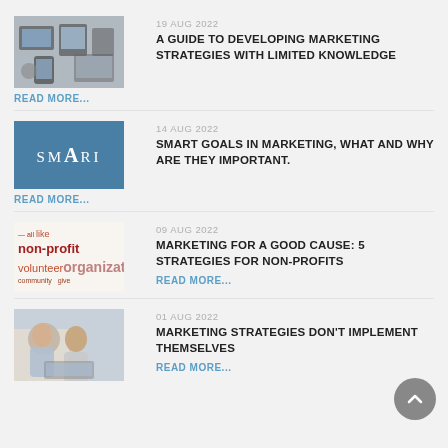[Figure (photo): Overhead view of laptops, phones and office items on a desk]
READ MORE...
19 AUG 2022
A GUIDE TO DEVELOPING MARKETING STRATEGIES WITH LIMITED KNOWLEDGE
[Figure (logo): Blue background with SMART text in white letters]
READ MORE...
14 AUG 2022
SMART GOALS IN MARKETING, WHAT AND WHY ARE THEY IMPORTANT.
[Figure (infographic): Word cloud with non-profit, volunteer, organization words]
09 AUG 2022
MARKETING FOR A GOOD CAUSE: 5 STRATEGIES FOR NON-PROFITS
READ MORE...
[Figure (photo): Two people looking at a laptop screen]
01 AUG 2022
MARKETING STRATEGIES DON'T IMPLEMENT THEMSELVES
READ MORE...